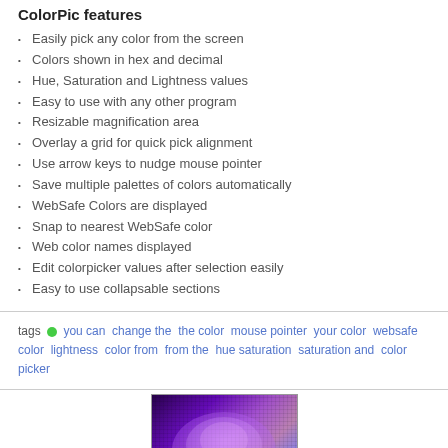ColorPic features
Easily pick any color from the screen
Colors shown in hex and decimal
Hue, Saturation and Lightness values
Easy to use with any other program
Resizable magnification area
Overlay a grid for quick pick alignment
Use arrow keys to nudge mouse pointer
Save multiple palettes of colors automatically
WebSafe Colors are displayed
Snap to nearest WebSafe color
Web color names displayed
Edit colorpicker values after selection easily
Easy to use collapsable sections
tags • you can  change the  the color  mouse pointer  your color  websafe color  lightness  color from  from the  hue saturation  saturation and  color picker
[Figure (photo): Colorful illuminated globe/dome with purple and pink hues, overlaid with a dot/pixel grid pattern]